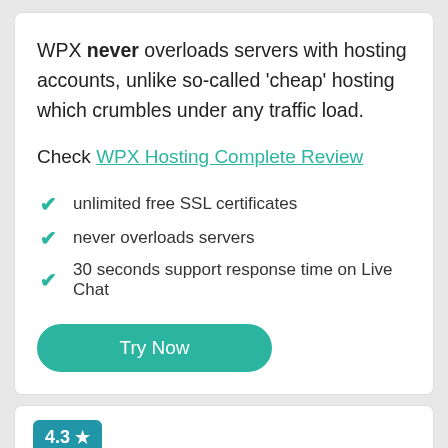WPX never overloads servers with hosting accounts, unlike so-called 'cheap' hosting which crumbles under any traffic load.
Check WPX Hosting Complete Review
unlimited free SSL certificates
never overloads servers
30 seconds support response time on Live Chat
Try Now
4.3 ★